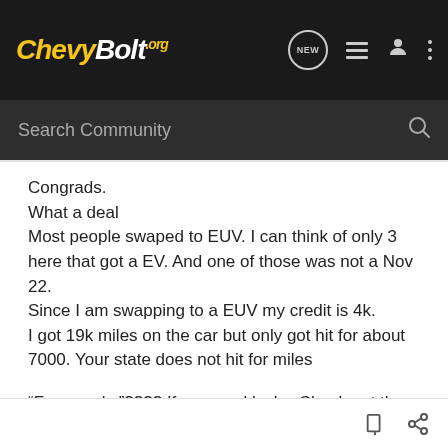ChevyBolt.org
Search Community
Congrads.
What a deal
Most people swaped to EUV. I can think of only 3 here that got a EV. And one of those was not a Nov 22.
Since I am swapping to a EUV my credit is 4k.
I got 19k miles on the car but only got hit for about 7000. Your state does not hit for miles

“Few weeks”???? If your real lucky. Check out the waiting room in the other post. 6 weeks here, 8 weeks another, me on 3 weeks. So grab a cup of coffee